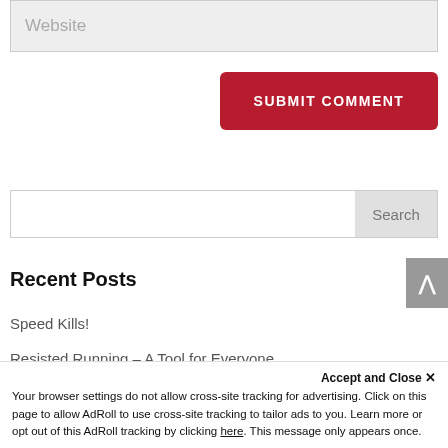Website
SUBMIT COMMENT
Search
Recent Posts
Speed Kills!
Resisted Running – A Tool for Everyone
Accept and Close ×
Your browser settings do not allow cross-site tracking for advertising. Click on this page to allow AdRoll to use cross-site tracking to tailor ads to you. Learn more or opt out of this AdRoll tracking by clicking here. This message only appears once.